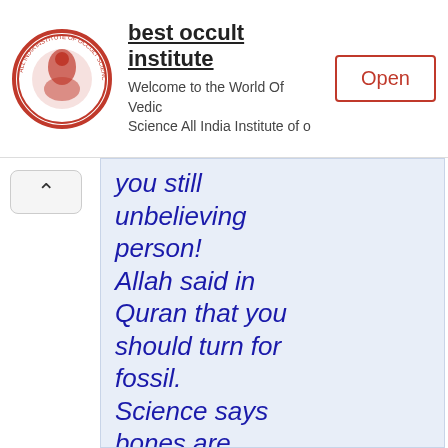[Figure (screenshot): Ad banner for 'best occult institute' with circular red logo, title text, subtitle 'Welcome to the World Of Vedic Science All India Institute of o', and red-bordered Open button]
you still unbelieving person! Allah said in Quran that you should turn for fossil. Science says bones are applicable to turn for iron. Why don't you believe the pity human? God promises us that Resurrection